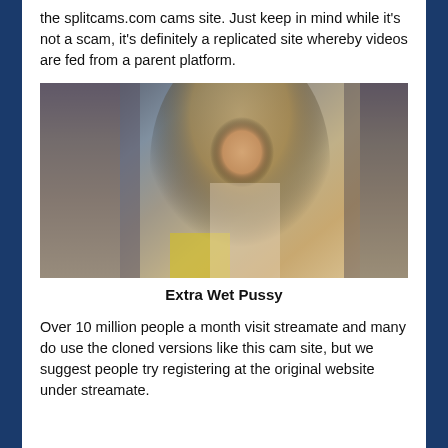the splitcams.com cams site. Just keep in mind while it's not a scam, it's definitely a replicated site whereby videos are fed from a parent platform.
[Figure (photo): A woman with long blonde hair and glasses, wearing a white top, sitting in front of a rack with items hanging.]
Extra Wet Pussy
Over 10 million people a month visit streamate and many do use the cloned versions like this cam site, but we suggest people try registering at the original website under streamate.